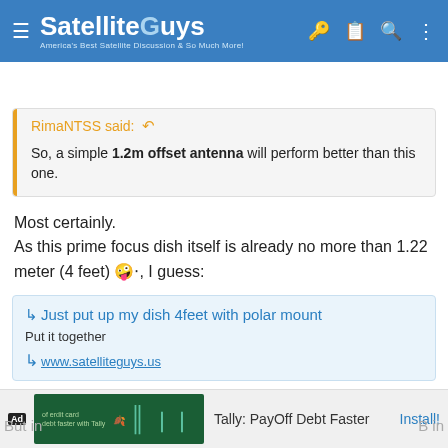SatelliteGuys — America's Best Satellite Discussion & So Much More!
May 29, 2022  #7
RimaNTSS said: ↩
So, a simple 1.2m offset antenna will perform better than this one.
Most certainly.
As this prime focus dish itself is already no more than 1.22 meter (4 feet) 🤪, I guess:
↩ Just put up my dish 4feet with polar mount
Put it together
www.satelliteguys.us
But in  B in
[Figure (screenshot): Advertisement banner for Tally: PayOff Debt Faster app]